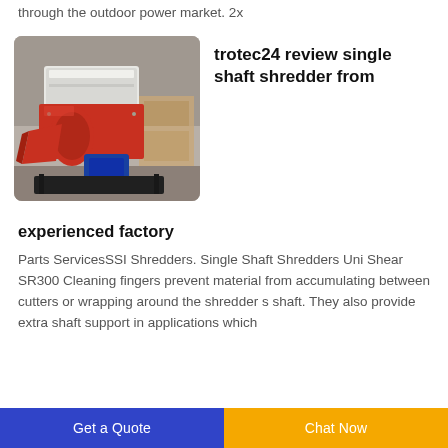through the outdoor power market. 2x
[Figure (photo): Industrial single shaft shredder machine with red and white metal body, photographed in a warehouse/factory setting]
trotec24 review single shaft shredder from
experienced factory
Parts ServicesSSI Shredders. Single Shaft Shredders Uni Shear SR300 Cleaning fingers prevent material from accumulating between cutters or wrapping around the shredder s shaft. They also provide extra shaft support in applications which
Get a Quote  Chat Now